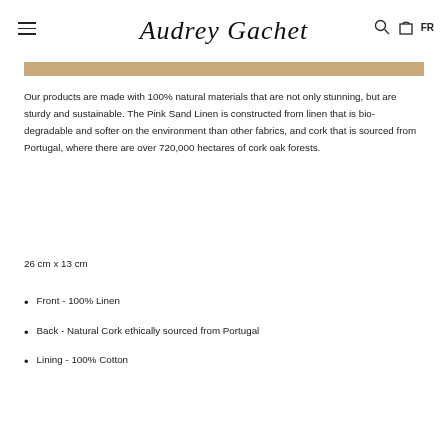Audrey Gachet
Our products are made with 100% natural materials that are not only stunning, but are sturdy and sustainable. The Pink Sand Linen is constructed from linen that is bio-degradable and softer on the environment than other fabrics, and cork that is sourced from Portugal, where there are over 720,000 hectares of cork oak forests.
26 cm x 13 cm
Front -  100% Linen
Back - Natural Cork ethically sourced from Portugal
Lining - 100% Cotton